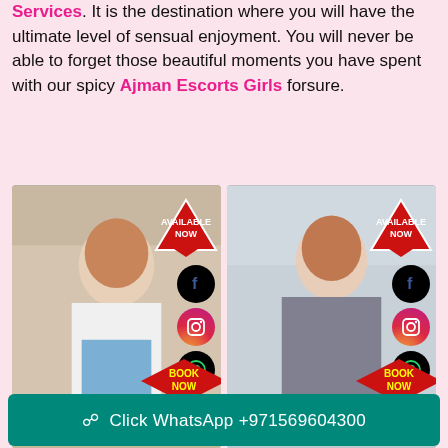Services. It is the destination where you will have the ultimate level of sensual enjoyment. You will never be able to forget those beautiful moments you have spent with our spicy Ajman Escorts Girls forsure.
[Figure (photo): Two side-by-side photos of women with social media icons (Facebook, Instagram, WhatsApp) and 'AVAILABLE NOW' and 'BOOK NOW' badges overlaid on each image]
[Figure (photo): Partial bottom row of photos, partially visible]
Click WhatsApp +971569604300